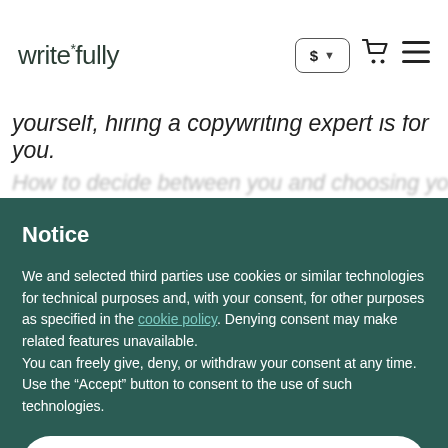writefully
yourself, hiring a copywriting expert is for you.
Notice
We and selected third parties use cookies or similar technologies for technical purposes and, with your consent, for other purposes as specified in the cookie policy. Denying consent may make related features unavailable.
You can freely give, deny, or withdraw your consent at any time. Use the “Accept” button to consent to the use of such technologies.
Accept
Learn more and customise